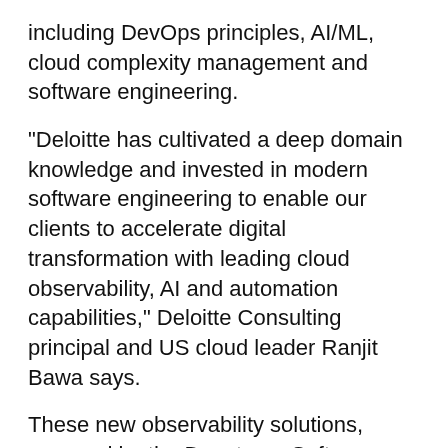including DevOps principles, AI/ML, cloud complexity management and software engineering.
"Deloitte has cultivated a deep domain knowledge and invested in modern software engineering to enable our clients to accelerate digital transformation with leading cloud observability, AI and automation capabilities," Deloitte Consulting principal and US cloud leader Ranjit Bawa says.
These new observability solutions, powered by the Dynatrace Software Intelligence Platform, will help our clients deliver experiences that will define our world in the years to come."
The company will use Dynatrace Software Intelligence Platform's observability and AIOps capabilities to develop targeted offerings for clients, aiming to fast-track digital transformation for large organisations.